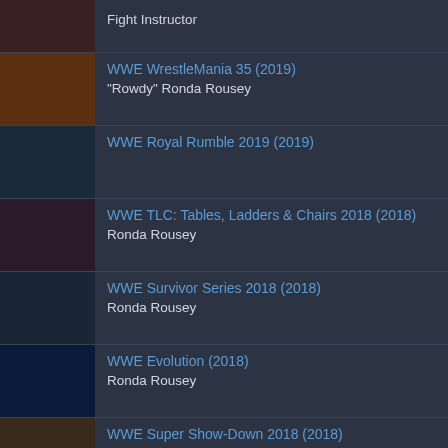Fight Instructor
WWE WrestleMania 35 (2019)
"Rowdy" Ronda Rousey
WWE Royal Rumble 2019 (2019)
WWE TLC: Tables, Ladders & Chairs 2018 (2018)
Ronda Rousey
WWE Survivor Series 2018 (2018)
Ronda Rousey
WWE Evolution (2018)
Ronda Rousey
WWE Super Show-Down 2018 (2018)
Ronda Rousey
WWE Hell in a Cell 2018 (2018)
Ronda Rousey